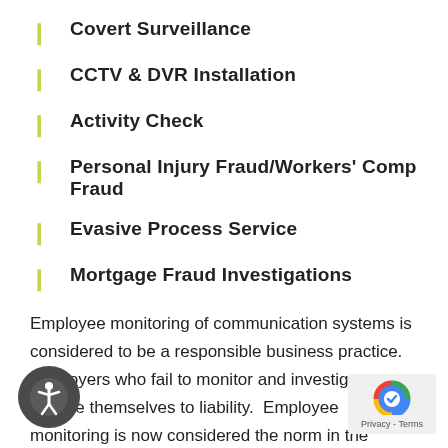Covert Surveillance
CCTV & DVR Installation
Activity Check
Personal Injury Fraud/Workers' Comp Fraud
Evasive Process Service
Mortgage Fraud Investigations
Employee monitoring of communication systems is considered to be a responsible business practice.  Employers who fail to monitor and investigate  may expose themselves to liability.  Employee monitoring is now considered the norm in the workplace.
Most employers now monitor their employees